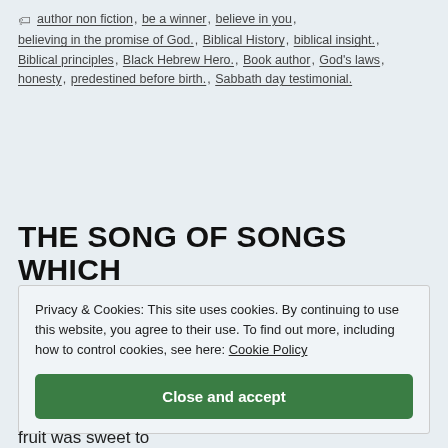author non fiction, be a winner, believe in you, believing in the promise of God., Biblical History, biblical insight., Biblical principles, Black Hebrew Hero., Book author, God's laws, honesty, predestined before birth., Sabbath day testimonial.
THE SONG OF SONGS WHICH
Privacy & Cookies: This site uses cookies. By continuing to use this website, you agree to their use. To find out more, including how to control cookies, see here: Cookie Policy
Close and accept
fruit was sweet to